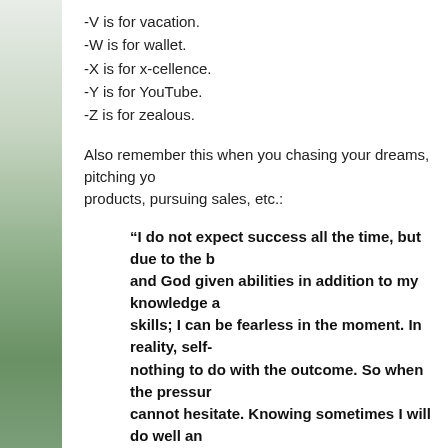-V is for vacation.
-W is for wallet.
-X is for x-cellence.
-Y is for YouTube.
-Z is for zealous.
Also remember this when you chasing your dreams, pitching your products, pursuing sales, etc.:
“I do not expect success all the time, but due to the b... and God given abilities in addition to my knowledge a... skills; I can be fearless in the moment. In reality, self-... nothing to do with the outcome. So when the pressur... cannot hesitate. Knowing sometimes I will do well an... won’t, regardless, I know failure is temporary and su... with perseverance.”
There’s a lot of things that I can’t control in life (women, weathe... sales, etc.), but if I focus on what I can control then I’ll be succe...